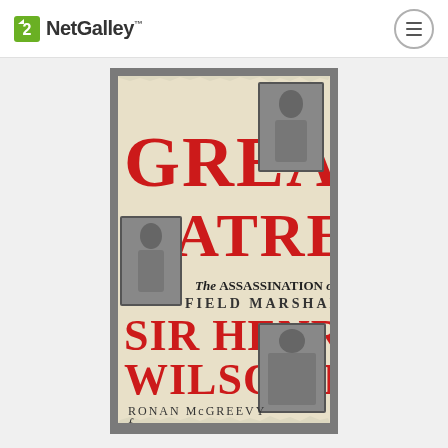NetGalley
[Figure (illustration): Book cover for 'Great Hatred: The Assassination of Field Marshal Sir Henry Wilson MP' by Ronan McGreevy, published by Faber. Cover features large bold red text on a cream/torn paper background with black-and-white photographs of historical figures including a military officer.]